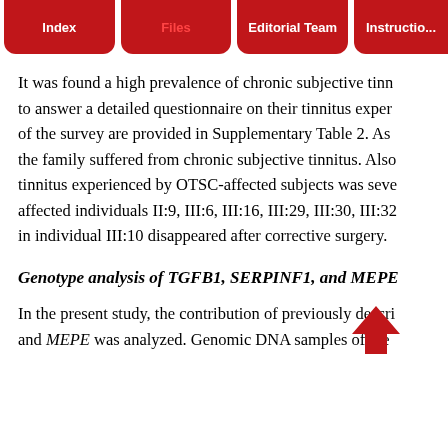Index | Files | Editorial Team | Instructions
It was found a high prevalence of chronic subjective tinnitus to answer a detailed questionnaire on their tinnitus experience of the survey are provided in Supplementary Table 2. As the family suffered from chronic subjective tinnitus. Also, tinnitus experienced by OTSC-affected subjects was severe, affected individuals II:9, III:6, III:16, III:29, III:30, III:32 in individual III:10 disappeared after corrective surgery.
Genotype analysis of TGFB1, SERPINF1, and MEPE
In the present study, the contribution of previously described and MEPE was analyzed. Genomic DNA samples of the